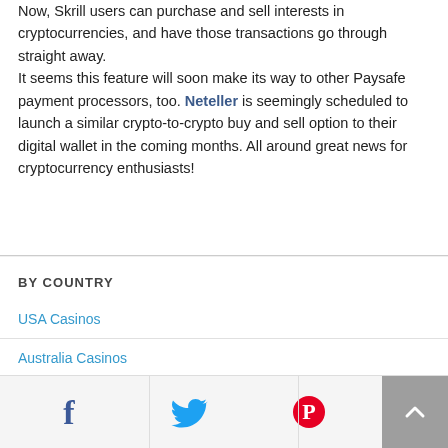Now, Skrill users can purchase and sell interests in cryptocurrencies, and have those transactions go through straight away. It seems this feature will soon make its way to other Paysafe payment processors, too. Neteller is seemingly scheduled to launch a similar crypto-to-crypto buy and sell option to their digital wallet in the coming months. All around great news for cryptocurrency enthusiasts!
BY COUNTRY
USA Casinos
Australia Casinos
UK Casinos
[Figure (other): Social share bar with Facebook, Twitter, and Pinterest icons, and a scroll-to-top button]